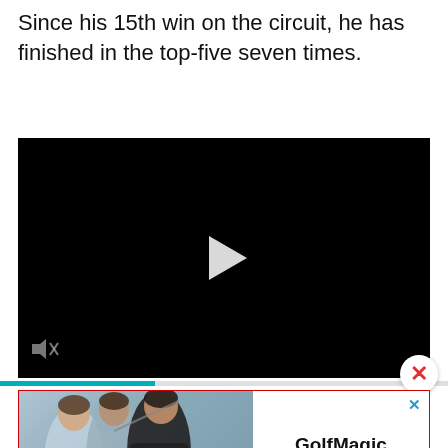Since his 15th win on the circuit, he has finished in the top-five seven times.
[Figure (screenshot): Embedded video player with black background, white play button triangle in center, mute icon at bottom left. Blue progress bar below.]
[Figure (screenshot): Advertisement banner with red border showing three golfers (Jon Rahm, Dustin Johnson, Rory McIlroy) on left side with YouTube play button overlay, and GolfMagic YouTube branding on right side. Blue 'x' close button top right. Teal Privacy Manager button bottom right.]